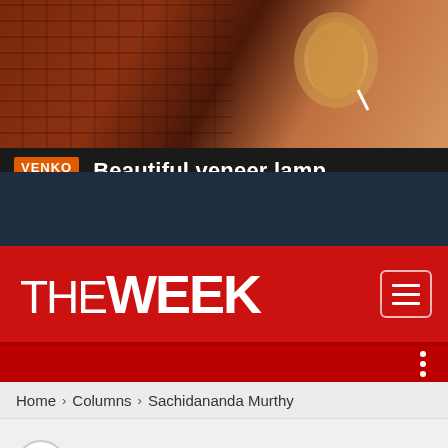[Figure (screenshot): Advertisement banner for VENKO Wood featuring a veneer lamp photo with brick wall background and orange VENKO WOOD logo badge with text 'Beautiful veneer lamp']
[Figure (screenshot): Dark navy blue section, possibly a navigation or ad space area]
THE WEEK
Home > Columns > Sachidananda Murthy
Sachidananda Murthy: A China ...